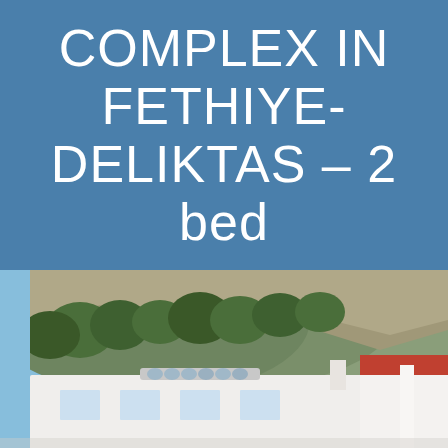COMPLEX IN FETHIYE-DELIKTAS – 2 bed
[Figure (photo): Exterior photograph of a white residential building/complex with a rooftop solar water heater, set against a rocky tree-covered hillside under a blue sky. Part of a red-roofed structure and a white column visible to the right.]